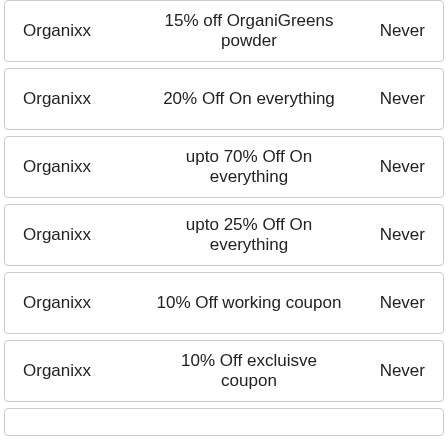| Brand | Description | Expiry |
| --- | --- | --- |
| Organixx | 15% off OrganiGreens powder | Never |
| Organixx | 20% Off On everything | Never |
| Organixx | upto 70% Off On everything | Never |
| Organixx | upto 25% Off On everything | Never |
| Organixx | 10% Off working coupon | Never |
| Organixx | 10% Off excluisve coupon | Never |